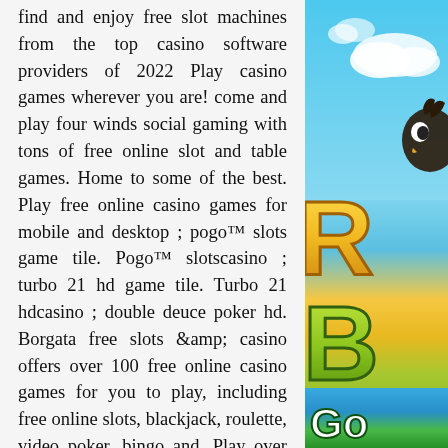find and enjoy free slot machines from the top casino software providers of 2022 Play casino games wherever you are! come and play four winds social gaming with tons of free online slot and table games. Home to some of the best. Play free online casino games for mobile and desktop ; pogo™ slots game tile. Pogo™ slotscasino ; turbo 21 hd game tile. Turbo 21 hdcasino ; double deuce poker hd. Borgata free slots &amp; casino offers over 100 free online casino games for you to play, including free online slots, blackjack, roulette, video poker, bingo and. Play over 200 of the best free online slot games without risking real money. Enjoy free slots in new jersey without downloads, registrations. The fun doesn't stop at the casino floor, you can also play free casino games with lucky north casino. Download or play online! Jammin' jars · 96. Dead or alive 2 · 96. 8% ; august 2019, push gaming. Welcome to netent games / best netent
[Figure (illustration): Colorful game/app screenshot with blue sky background and animated cartoon characters with large yellow and green text letters partially visible on the right side of the page]